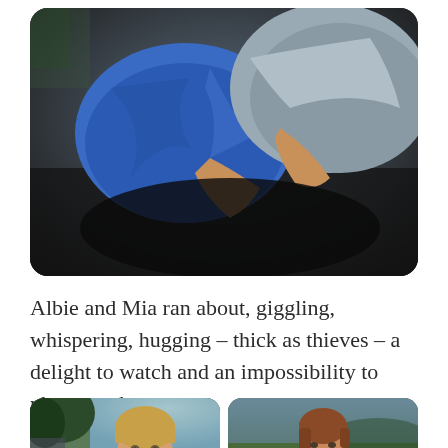[Figure (photo): Close-up photo of two people hugging, one wearing a blue t-shirt and the other a grey shirt, taken outdoors with dark background]
Albie and Mia ran about, giggling, whispering, hugging – thick as thieves – a delight to watch and an impossibility to photograph.
[Figure (photo): Two side-by-side photos: left shows a young toddler with blonde hair smiling outdoors near trees; right shows an older child with reddish hair looking down at something in a grassy field]